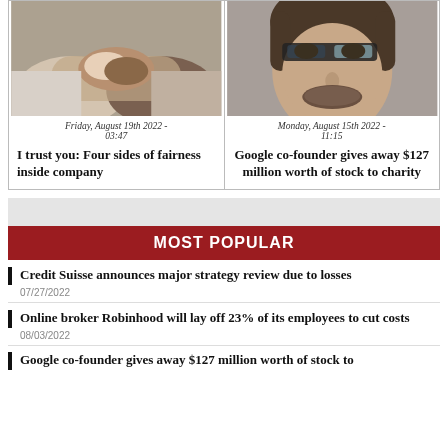[Figure (photo): Two people shaking hands, representing business trust]
Friday, August 19th 2022 - 03:47
I trust you: Four sides of fairness inside company
[Figure (photo): Man wearing Google Glass smart glasses]
Monday, August 15th 2022 - 11:15
Google co-founder gives away $127 million worth of stock to charity
[Figure (other): Advertisement banner placeholder]
MOST POPULAR
Credit Suisse announces major strategy review due to losses
07/27/2022
Online broker Robinhood will lay off 23% of its employees to cut costs
08/03/2022
Google co-founder gives away $127 million worth of stock to